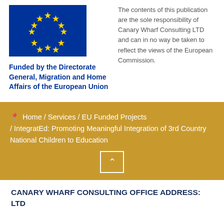[Figure (logo): European Union flag — blue background with 12 gold stars in a circle]
Funded by the Directorate General, Migration and Home Affairs of the European Union
The contents of this publication are the sole responsibility of Canary Wharf Consulting LTD and can in no way be taken to reflect the views of the European Commission.
Home / Services / EU Funded Projects / IntegratEd: Promoting Meaningful Integration of 3rd Country National Children to Education
CANARY WHARF CONSULTING OFFICE ADDRESS: LTD